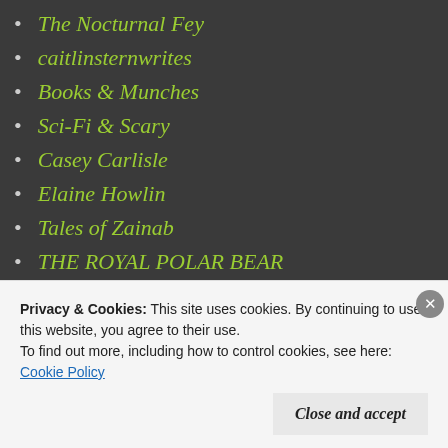The Nocturnal Fey
caitlinsternwrites
Books & Munches
Sci-Fi & Scary
Casey Carlisle
Elaine Howlin
Tales of Zainab
THE ROYAL POLAR BEAR
Advertisements
[Figure (logo): Longreads logo: red circle with letter L and text LONGREADS in white on black background]
Privacy & Cookies: This site uses cookies. By continuing to use this website, you agree to their use.
To find out more, including how to control cookies, see here: Cookie Policy
Close and accept